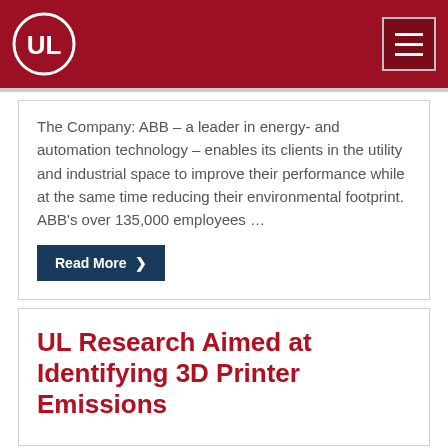UL
The Company: ABB – a leader in energy- and automation technology – enables its clients in the utility and industrial space to improve their performance while at the same time reducing their environmental footprint. ABB's over 135,000 employees …
Read More
UL Research Aimed at Identifying 3D Printer Emissions